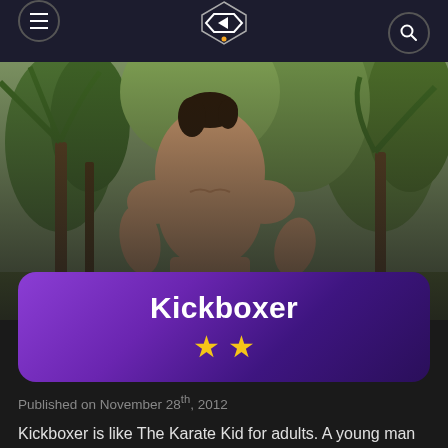Navigation bar with hamburger menu, site logo, and search icon
[Figure (photo): Shirtless muscular young man with dark hair in a jungle/outdoor setting with tropical trees and foliage in background — movie still from Kickboxer]
Kickboxer
[Figure (other): Two gold/yellow star rating icons]
Published on November 28th, 2012
Kickboxer is like The Karate Kid for adults. A young man